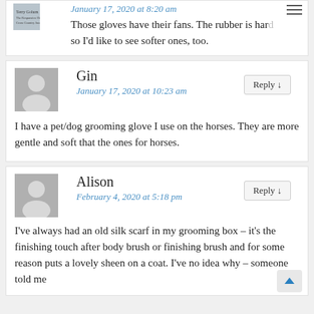January 17, 2020 at 8:20 am
Those gloves have their fans. The rubber is hard so I'd like to see softer ones, too.
Gin
January 17, 2020 at 10:23 am
I have a pet/dog grooming glove I use on the horses. They are more gentle and soft that the ones for horses.
Alison
February 4, 2020 at 5:18 pm
I've always had an old silk scarf in my grooming box – it's the finishing touch after body brush or finishing brush and for some reason puts a lovely sheen on a coat. I've no idea why – someone told me